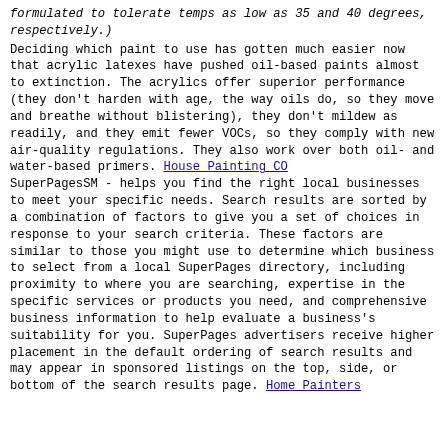formulated to tolerate temps as low as 35 and 40 degrees, respectively.)
Deciding which paint to use has gotten much easier now that acrylic latexes have pushed oil-based paints almost to extinction. The acrylics offer superior performance (they don't harden with age, the way oils do, so they move and breathe without blistering), they don't mildew as readily, and they emit fewer VOCs, so they comply with new air-quality regulations. They also work over both oil- and water-based primers. House Painting CO
SuperPagesSM - helps you find the right local businesses to meet your specific needs. Search results are sorted by a combination of factors to give you a set of choices in response to your search criteria. These factors are similar to those you might use to determine which business to select from a local SuperPages directory, including proximity to where you are searching, expertise in the specific services or products you need, and comprehensive business information to help evaluate a business's suitability for you. SuperPages advertisers receive higher placement in the default ordering of search results and may appear in sponsored listings on the top, side, or bottom of the search results page. Home Painters